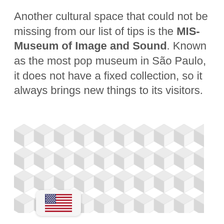Another cultural space that could not be missing from our list of tips is the MIS- Museum of Image and Sound. Known as the most pop museum in São Paulo, it does not have a fixed collection, so it always brings new things to its visitors.
[Figure (illustration): A repeating geometric 3D cube/diamond tessellation pattern in light gray and white tones, creating an optical illusion of depth.]
[Figure (illustration): A small rounded rectangle button containing a US flag emoji, representing a language selector.]